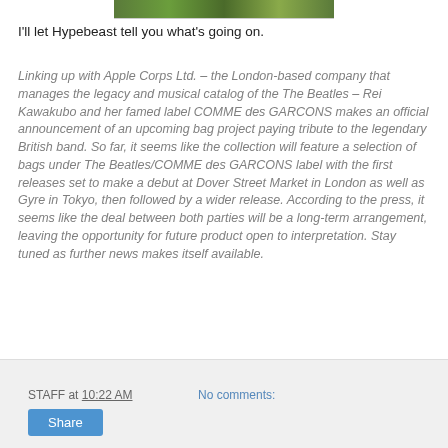[Figure (photo): Partial image strip at top showing green foliage/outdoor scene]
I'll let Hypebeast tell you what's going on.
Linking up with Apple Corps Ltd. – the London-based company that manages the legacy and musical catalog of the The Beatles – Rei Kawakubo and her famed label COMME des GARCONS makes an official announcement of an upcoming bag project paying tribute to the legendary British band. So far, it seems like the collection will feature a selection of bags under The Beatles/COMME des GARCONS label with the first releases set to make a debut at Dover Street Market in London as well as Gyre in Tokyo, then followed by a wider release. According to the press, it seems like the deal between both parties will be a long-term arrangement, leaving the opportunity for future product open to interpretation. Stay tuned as further news makes itself available.
STAFF at 10:22 AM   No comments:   Share